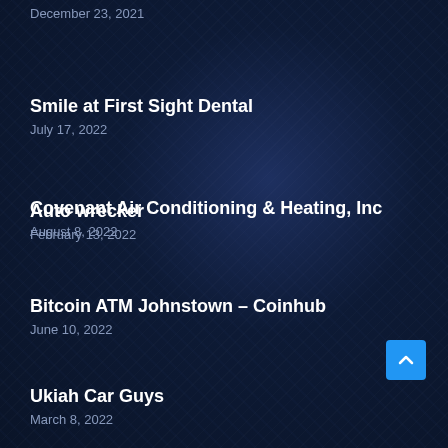December 23, 2021
Smile at First Sight Dental
July 17, 2022
Auto wrecker
February 13, 2022
Covenant Air Conditioning & Heating, Inc
August 8, 2022
Bitcoin ATM Johnstown – Coinhub
June 10, 2022
Ukiah Car Guys
March 8, 2022